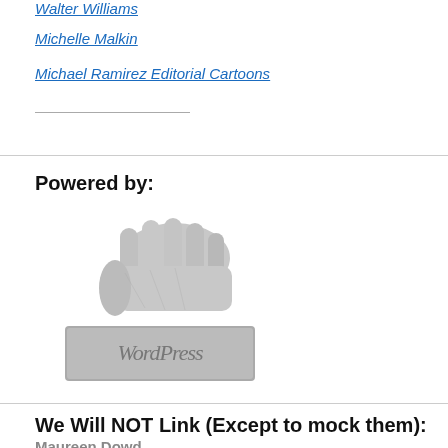Walter Williams
Michelle Malkin
Michael Ramirez Editorial Cartoons
Powered by:
[Figure (photo): Black and white photo of a hand holding a rubber stamp that reads 'WordPress', pressing it down onto a surface.]
We Will NOT Link (Except to mock them):
Maureen Dowd